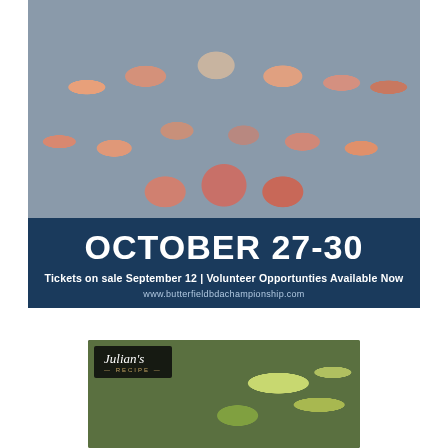[Figure (photo): Large group of men celebrating outdoors at a golf event, holding drinks and cheering. Below the photo is a dark navy banner with event details.]
OCTOBER 27-30
Tickets on sale September 12 | Volunteer Opportunties Available Now
www.butterfieldbdachampionship.com
[Figure (photo): Julian's recipe restaurant advertisement showing food dishes with salad and wraps on a wooden table, with the Julian's Recipe logo in the top left corner.]